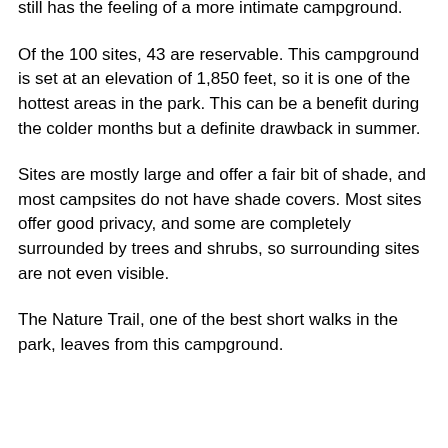still has the feeling of a more intimate campground.
Of the 100 sites, 43 are reservable. This campground is set at an elevation of 1,850 feet, so it is one of the hottest areas in the park. This can be a benefit during the colder months but a definite drawback in summer.
Sites are mostly large and offer a fair bit of shade, and most campsites do not have shade covers. Most sites offer good privacy, and some are completely surrounded by trees and shrubs, so surrounding sites are not even visible.
The Nature Trail, one of the best short walks in the park, leaves from this campground.